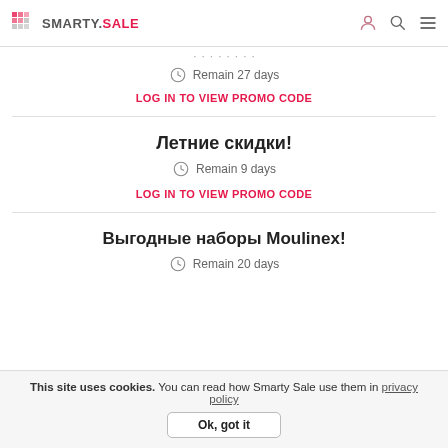SMARTY.SALE
Remain 27 days
LOG IN TO VIEW PROMO CODE
Летние скидки!
Remain 9 days
LOG IN TO VIEW PROMO CODE
Выгодные наборы Moulinex!
Remain 20 days
This site uses cookies. You can read how Smarty Sale use them in privacy policy
Ok, got it